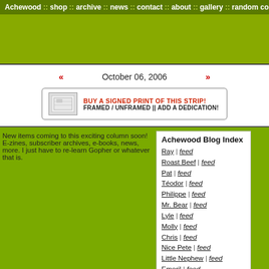Achewood :: shop :: archive :: news :: contact :: about :: gallery :: random comic
[Figure (screenshot): Green banner/advertisement area]
« October 06, 2006 »
[Figure (infographic): Buy a signed print of this strip! Framed / Unframed || Add a Dedication!]
New items coming to this exciting column soon! E-zines, subscriber archives, e-books, news, more. I just have to re-learn Gopher or whatever that is.
Achewood Blog Index
Ray | feed
Roast Beef | feed
Pat | feed
Téodor | feed
Philippe | feed
Mr. Bear | feed
Lyle | feed
Molly | feed
Chris | feed
Nice Pete | feed
Little Nephew | feed
Emeril | feed